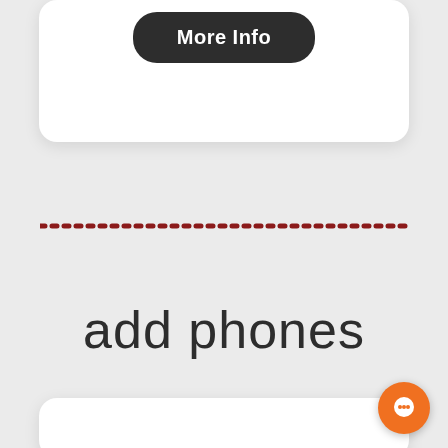[Figure (screenshot): Rounded white card at top showing a dark 'More Info' button]
[Figure (other): Horizontal dotted line in dark red/maroon color acting as a section divider]
add phones
[Figure (other): Rounded white card at bottom, partially visible, with an orange circular chat/messaging button in the bottom-right corner]